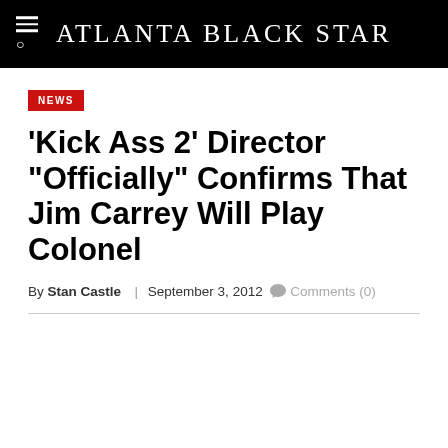Atlanta Black Star
NEWS
'Kick Ass 2' Director "Officially" Confirms That Jim Carrey Will Play Colonel
By Stan Castle | September 3, 2012  Comments (0)